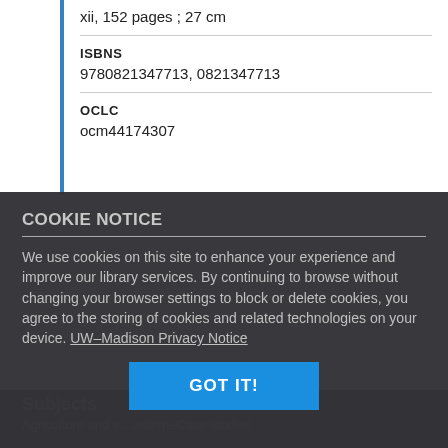xii, 152 pages ; 27 cm
ISBNS
9780821347713, 0821347713
OCLC
ocm44174307
COOKIE NOTICE
We use cookies on this site to enhance your experience and improve our library services. By continuing to browse without changing your browser settings to block or delete cookies, you agree to the storing of cookies and related technologies on your device. UW–Madison Privacy Notice
GOT IT!
Subjects
Agriculture and e... astern--Case studies